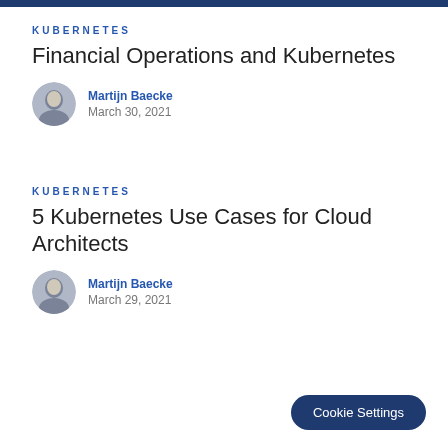Kubernetes
Financial Operations and Kubernetes
Martijn Baecke
March 30, 2021
Kubernetes
5 Kubernetes Use Cases for Cloud Architects
Martijn Baecke
March 29, 2021
Cookie Settings